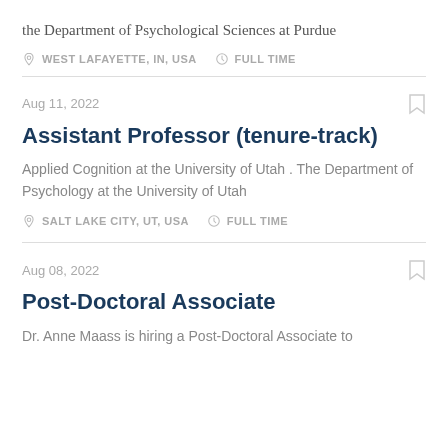the Department of Psychological Sciences at Purdue
WEST LAFAYETTE, IN, USA   FULL TIME
Aug 11, 2022
Assistant Professor (tenure-track)
Applied Cognition at the University of Utah . The Department of Psychology at the University of Utah
SALT LAKE CITY, UT, USA   FULL TIME
Aug 08, 2022
Post-Doctoral Associate
Dr. Anne Maass is hiring a Post-Doctoral Associate to